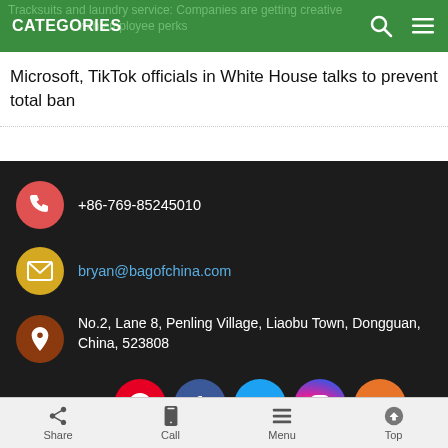CATEGORIES
Tracksuits and laundry service: Companies are getting creative with employee perks
Microsoft, TikTok officials in White House talks to prevent total ban
+86-769-85245010
bryan@bagofchina.com
No.2, Lane 8, Penling Village, Liaobu Town, Dongguan, China, 523808
Follow us:
Copyright © 2022 粤ICP备19031079号  Sitemap
Share  Call  Menu  Top